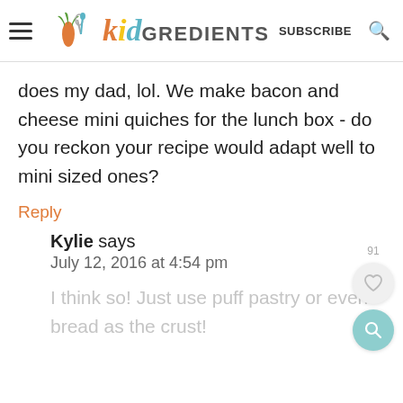kidGREDIENTS | SUBSCRIBE
does my dad, lol. We make bacon and cheese mini quiches for the lunch box - do you reckon your recipe would adapt well to mini sized ones?
Reply
Kylie says
July 12, 2016 at 4:54 pm
I think so! Just use puff pastry or even bread as the crust!